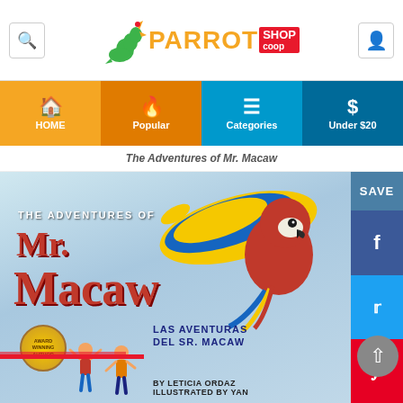[Figure (logo): ParrotShopCoop website header with search icon, parrot logo, and user icon]
[Figure (screenshot): Navigation bar with HOME, Popular, Categories, Under $20 menu items]
The Adventures of Mr. Macaw
[Figure (photo): Book cover for 'The Adventures of Mr. Macaw / Las Aventuras Del Sr. Macaw' by Leticia Ordaz, illustrated by Yan, featuring a colorful macaw parrot in flight and two children. Award Winning Author badge shown. Save, Facebook, Twitter, Pinterest sharing buttons on the right side.]
0 saves   107 views